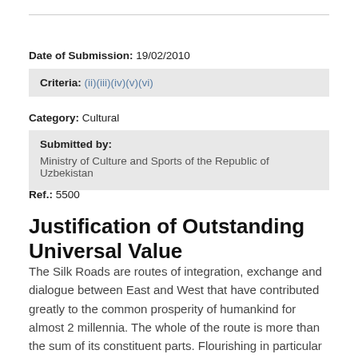Date of Submission: 19/02/2010
Criteria: (ii)(iii)(iv)(v)(vi)
Category: Cultural
Submitted by:
Ministry of Culture and Sports of the Republic of Uzbekistan
Ref.: 5500
Justification of Outstanding Universal Value
The Silk Roads are routes of integration, exchange and dialogue between East and West that have contributed greatly to the common prosperity of humankind for almost 2 millennia. The whole of the route is more than the sum of its constituent parts. Flourishing in particular between the 2nd century BC and end of the 16th